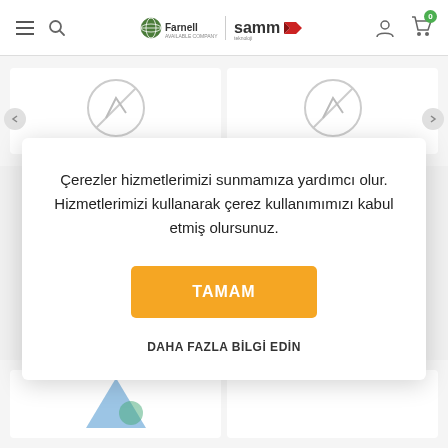[Figure (screenshot): Farnell | SAMM teknoloji website header with hamburger menu, search icon, combined Farnell and SAMM logo, user account icon, and cart icon with badge showing 0]
Çerezler hizmetlerimizi sunmamıza yardımcı olur. Hizmetlerimizi kullanarak çerez kullanımımızı kabul etmiş olursunuz.
TAMAM
DAHA FAZLA BİLGİ EDİN